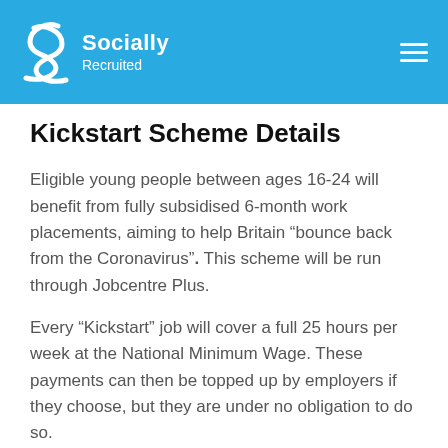Socially Recruited
Kickstart Scheme Details
Eligible young people between ages 16-24 will benefit from fully subsidised 6-month work placements, aiming to help Britain “bounce back from the Coronavirus”. This scheme will be run through Jobcentre Plus.
Every “Kickstart” job will cover a full 25 hours per week at the National Minimum Wage. These payments can then be topped up by employers if they choose, but they are under no obligation to do so.